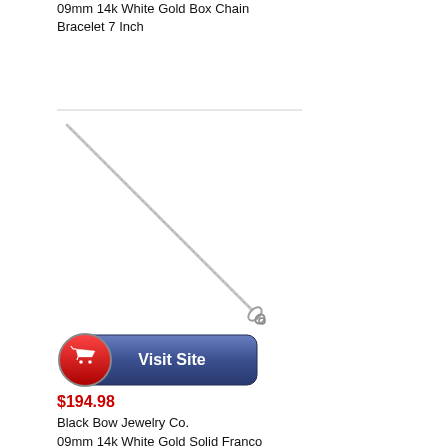09mm 14k White Gold Box Chain Bracelet 7 Inch
[Figure (photo): A white gold box chain bracelet photographed diagonally on a white background, showing a thin chain with a lobster clasp at the bottom right end.]
[Figure (other): A red and blue 'Visit Site' button with a shopping cart icon on the left side.]
$194.98
Black Bow Jewelry Co.
09mm 14k White Gold Solid Franco Chain Bracelet